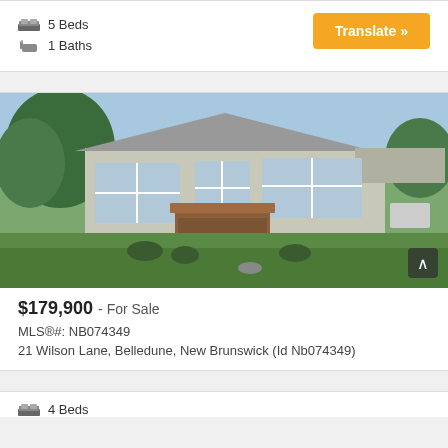5 Beds
1 Baths
[Figure (photo): Exterior photo of a single-story ranch-style house with light grey siding, white-trimmed windows, a wooden deck with stairs, and a large green lawn. Trees visible in background.]
$179,900 - For Sale
MLS®#: NB074349
21 Wilson Lane, Belledune, New Brunswick (Id Nb074349)
4 Beds